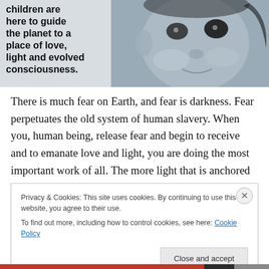[Figure (photo): Black and white photo of a child's face close-up on the right side, with overlaid bold text on the left reading: 'children are here to guide the planet to a place of love, light and evolved consciousness.']
There is much fear on Earth, and fear is darkness. Fear perpetuates the old system of human slavery. When you, human being, release fear and begin to receive and to emanate love and light, you are doing the most important work of all. The more light that is anchored on the planet,
Privacy & Cookies: This site uses cookies. By continuing to use this website, you agree to their use.
To find out more, including how to control cookies, see here: Cookie Policy